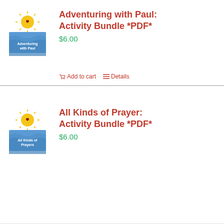[Figure (illustration): Product thumbnail for Adventuring with Paul activity bundle - shows a sun logo at top and wavy water graphic below with text 'Adventuring with Paul']
Adventuring with Paul: Activity Bundle *PDF*
$6.00
Add to cart   Details
[Figure (illustration): Product thumbnail for All Kinds of Prayers activity bundle - shows a sun logo at top and wavy water graphic below with text 'All Kinds of Prayers']
All Kinds of Prayer: Activity Bundle *PDF*
$6.00